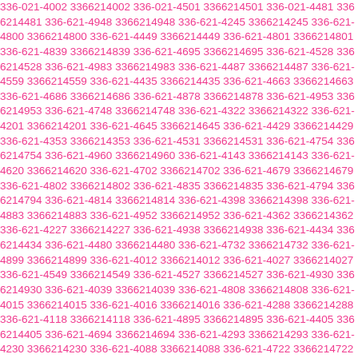336-021-4002 3366214002 336-021-4501 3366214501 336-021-4481 3366214481 336-621-4948 3366214948 336-621-4245 3366214245 336-621-4800 3366214800 336-621-4449 3366214449 336-621-4801 3366214801 336-621-4839 3366214839 336-621-4695 3366214695 336-621-4528 3366214528 336-621-4983 3366214983 336-621-4487 3366214487 336-621-4559 3366214559 336-621-4435 3366214435 336-621-4663 3366214663 336-621-4686 3366214686 336-621-4878 3366214878 336-621-4953 3366214953 336-621-4748 3366214748 336-621-4322 3366214322 336-621-4201 3366214201 336-621-4645 3366214645 336-621-4429 3366214429 336-621-4353 3366214353 336-621-4531 3366214531 336-621-4754 3366214754 336-621-4960 3366214960 336-621-4143 3366214143 336-621-4620 3366214620 336-621-4702 3366214702 336-621-4679 3366214679 336-621-4802 3366214802 336-621-4835 3366214835 336-621-4794 3366214794 336-621-4814 3366214814 336-621-4398 3366214398 336-621-4883 3366214883 336-621-4952 3366214952 336-621-4362 3366214362 336-621-4227 3366214227 336-621-4938 3366214938 336-621-4434 3366214434 336-621-4480 3366214480 336-621-4732 3366214732 336-621-4899 3366214899 336-621-4012 3366214012 336-621-4027 3366214027 336-621-4549 3366214549 336-621-4527 3366214527 336-621-4930 3366214930 336-621-4039 3366214039 336-621-4808 3366214808 336-621-4015 3366214015 336-621-4016 3366214016 336-621-4288 3366214288 336-621-4118 3366214118 336-621-4895 3366214895 336-621-4405 3366214405 336-621-4694 3366214694 336-621-4293 3366214293 336-621-4230 3366214230 336-621-4088 3366214088 336-621-4722 3366214722 336-621-439 3366214139